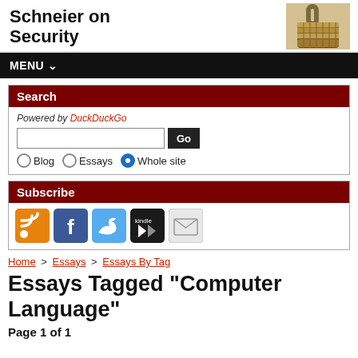Schneier on Security
[Figure (photo): Photograph of a combination padlock, golden/brass colored, viewed from the side]
MENU
Search
Powered by DuckDuckGo
Blog  Essays  Whole site
Subscribe
[Figure (infographic): Subscribe icons: RSS (orange), Facebook (blue), Twitter (light blue), Kindle (black), Email (grey)]
Home > Essays > Essays By Tag
Essays Tagged "Computer Language"
Page 1 of 1